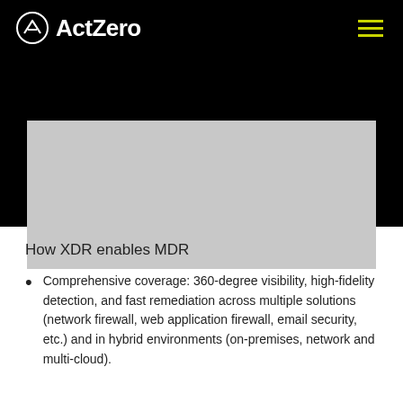ActZero
[Figure (photo): Grey placeholder image block below the header navigation]
How XDR enables MDR
Comprehensive coverage: 360-degree visibility, high-fidelity detection, and fast remediation across multiple solutions (network firewall, web application firewall, email security, etc.) and in hybrid environments (on-premises, network and multi-cloud).